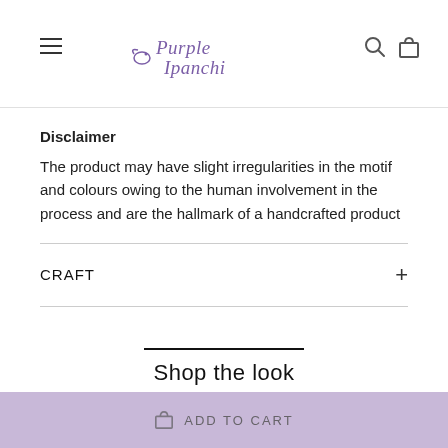Purple Ipanchi
Disclaimer
The product may have slight irregularities in the motif and colours owing to the human involvement in the process and are the hallmark of a handcrafted product
CRAFT
Shop the look
ADD TO CART